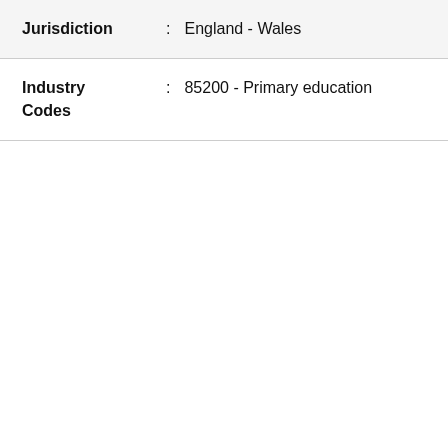Jurisdiction : England - Wales
Industry Codes : 85200 - Primary education